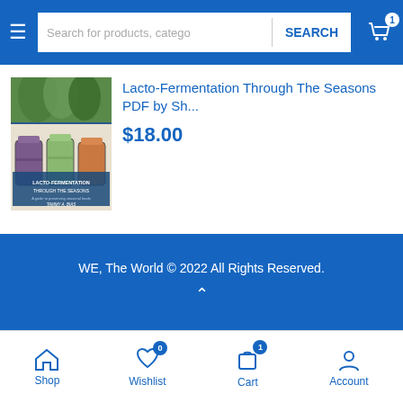Search for products, catego | SEARCH
[Figure (screenshot): Book cover for Lacto-Fermentation Through The Seasons showing jars of fermented vegetables]
Lacto-Fermentation Through The Seasons PDF by Sh...
$18.00
WE, The World © 2022 All Rights Reserved.
Shop  Wishlist 0  Cart 1  Account